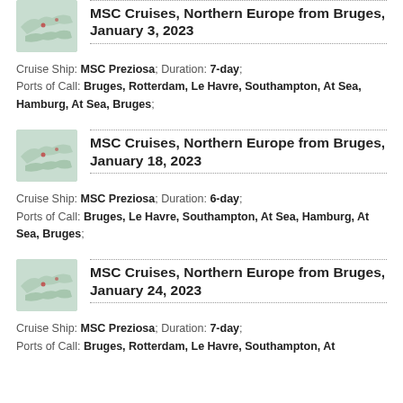MSC Cruises, Northern Europe from Bruges, January 3, 2023
Cruise Ship: MSC Preziosa; Duration: 7-day; Ports of Call: Bruges, Rotterdam, Le Havre, Southampton, At Sea, Hamburg, At Sea, Bruges;
MSC Cruises, Northern Europe from Bruges, January 18, 2023
Cruise Ship: MSC Preziosa; Duration: 6-day; Ports of Call: Bruges, Le Havre, Southampton, At Sea, Hamburg, At Sea, Bruges;
MSC Cruises, Northern Europe from Bruges, January 24, 2023
Cruise Ship: MSC Preziosa; Duration: 7-day; Ports of Call: Bruges, Rotterdam, Le Havre, Southampton, At